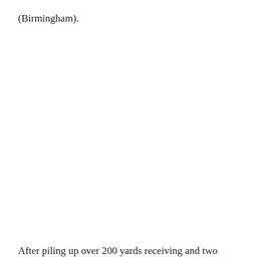(Birmingham).
After piling up over 200 yards receiving and two